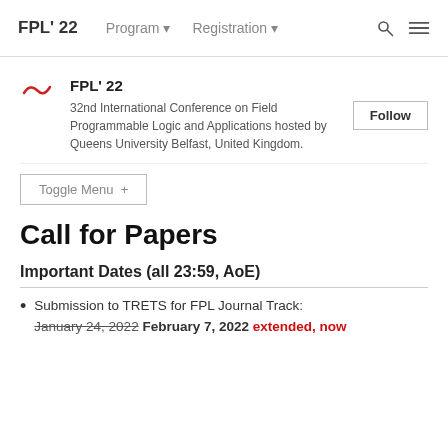FPL' 22   Program ▾   Registration ▾
FPL' 22
32nd International Conference on Field Programmable Logic and Applications hosted by Queens University Belfast, United Kingdom.
Toggle Menu +
Call for Papers
Important Dates (all 23:59, AoE)
Submission to TRETS for FPL Journal Track: January 24, 2022 February 7, 2022 extended, now